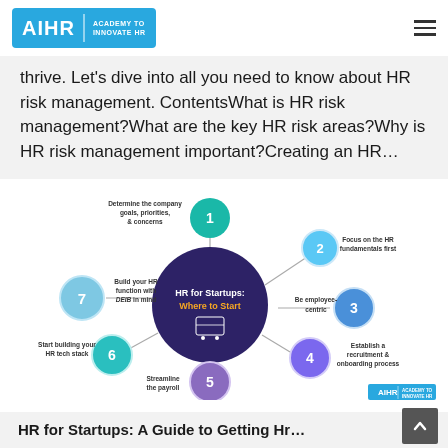AIHR | ACADEMY TO INNOVATE HR
thrive. Let's dive into all you need to know about HR risk management. ContentsWhat is HR risk management?What are the key HR risk areas?Why is HR risk management important?Creating an HR...
[Figure (infographic): Circular infographic titled 'HR for Startups: Where to Start' with a dark blue/purple center circle surrounded by 7 numbered teal/blue/purple circles connected by lines. Steps: 1. Determine the company goals, priorities, & concerns; 2. Focus on the HR fundamentals first; 3. Be employee-centric; 4. Establish a recruitment & onboarding process; 5. Streamline the payroll; 6. Start building your HR tech stack; 7. Build your HR function with DEIB in mind.]
HR for Startups: A Guide to Getting Hr...